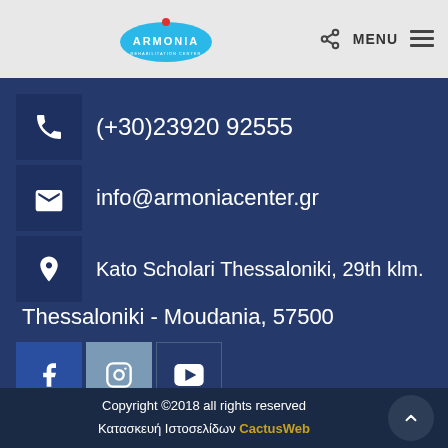ARMONIA REHABILITATION CENTER — MENU
(+30)23920 92555
info@armoniacenter.gr
Kato Scholari Thessaloniki, 29th klm.
Thessaloniki - Moudania, 57500
[Figure (infographic): Social media icons: Facebook, Instagram, YouTube]
Copyright ©2018 all rights reserved Κατασκευή Ιστοσελίδων CactusWeb